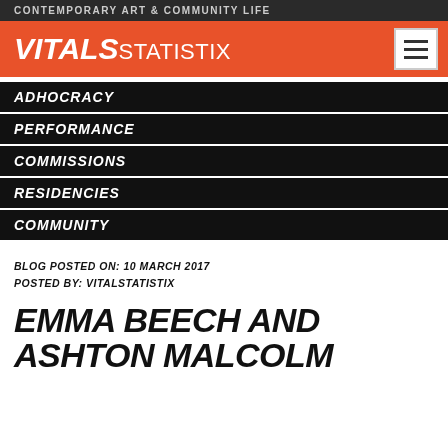CONTEMPORARY ART & COMMUNITY LIFE
VITALSTATISTIX
ADHOCRACY
PERFORMANCE
COMMISSIONS
RESIDENCIES
COMMUNITY
BLOG POSTED ON: 10 MARCH 2017
POSTED BY: VITALSTATISTIX
EMMA BEECH AND ASHTON MALCOLM